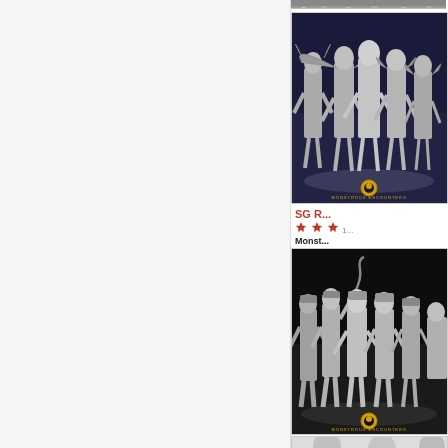[Figure (photo): Partial view of grey miniature figures at the very top of the page]
SG R...
★★...
Monst... arms a... 28mm... a set o...
[Figure (photo): Group of grey unpainted tabletop miniature figures posed on dark blue background with Monstrous Encounters watermark logo]
SG T...
★★...
Monst... heads... 28mm... is a se...
[Figure (photo): Group of grey unpainted tabletop miniature soldier figures on dark background with Monstrous Encounters watermark logo]
Siste...
[Figure (photo): Partial view of grey miniature figures at the bottom of the page]